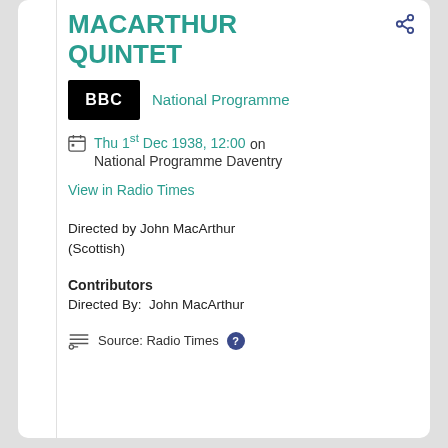MACARTHUR QUINTET
National Programme
Thu 1st Dec 1938, 12:00 on National Programme Daventry
View in Radio Times
Directed by John MacArthur (Scottish)
Contributors
Directed By:  John MacArthur
Source: Radio Times